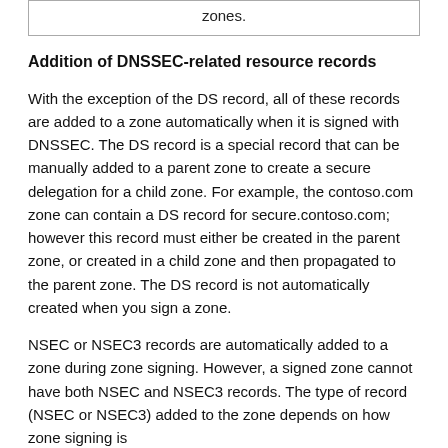| zones. |
Addition of DNSSEC-related resource records
With the exception of the DS record, all of these records are added to a zone automatically when it is signed with DNSSEC. The DS record is a special record that can be manually added to a parent zone to create a secure delegation for a child zone. For example, the contoso.com zone can contain a DS record for secure.contoso.com; however this record must either be created in the parent zone, or created in a child zone and then propagated to the parent zone. The DS record is not automatically created when you sign a zone.
NSEC or NSEC3 records are automatically added to a zone during zone signing. However, a signed zone cannot have both NSEC and NSEC3 records. The type of record (NSEC or NSEC3) added to the zone depends on how zone signing is